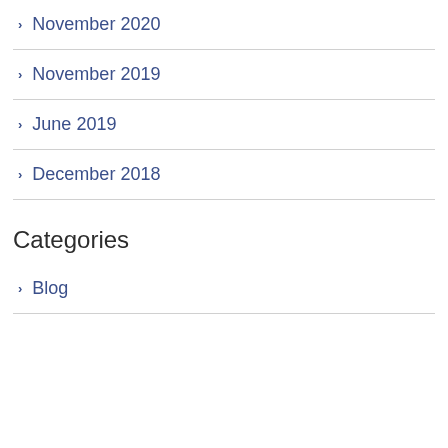November 2020
November 2019
June 2019
December 2018
Categories
Blog